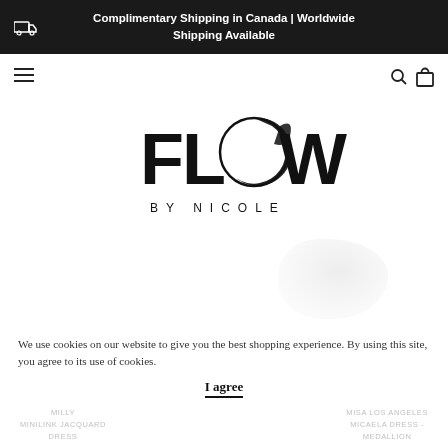Complimentary Shipping in Canada | Worldwide Shipping Available
[Figure (logo): FLOW BY NICOLE brand logo with circular brush stroke around the letter O]
We use cookies on our website to give you the best shopping experience. By using this site, you agree to its use of cookies.
I agree
MILLY MINILINK JACQUARD DRESS
MISA LOS ANGELES MICAELA DRESS - MEDALLION